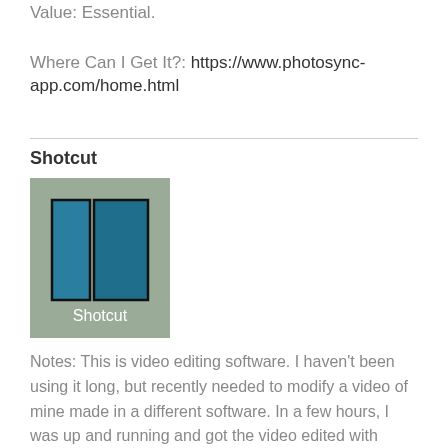Value: Essential.
Where Can I Get It?: https://www.photosync-app.com/home.html
Shotcut
[Figure (logo): Shotcut app icon: two rectangles (one narrow, one wide) in teal/dark teal colors with black outlines on a sage green background, with the label 'Shotcut' in white text below the rectangles.]
Notes: This is video editing software. I haven't been using it long, but recently needed to modify a video of mine made in a different software. In a few hours, I was up and running and got the video edited with ease!
Been using for: Less than one year.